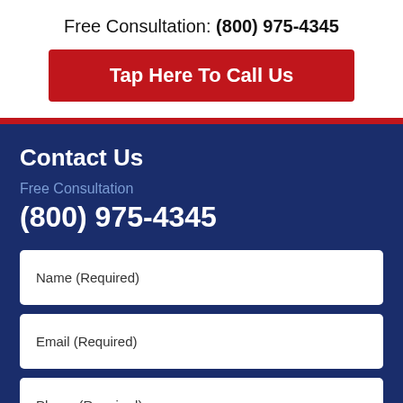Free Consultation: (800) 975-4345
Tap Here To Call Us
Contact Us
Free Consultation
(800) 975-4345
Name (Required)
Email (Required)
Phone (Required)
Message